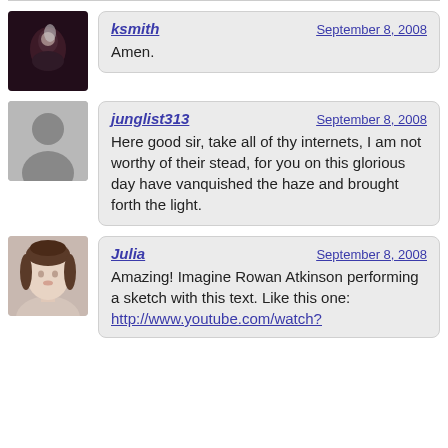ksmith — September 8, 2008 — Amen.
junglist313 — September 8, 2008 — Here good sir, take all of thy internets, I am not worthy of their stead, for you on this glorious day have vanquished the haze and brought forth the light.
Julia — September 8, 2008 — Amazing! Imagine Rowan Atkinson performing a sketch with this text. Like this one: http://www.youtube.com/watch?